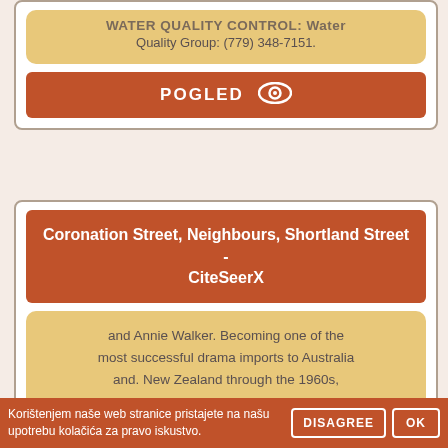WATER QUALITY CONTROL: Water Quality Group: (779) 348-7151.
POGLED
Coronation Street, Neighbours, Shortland Street - CiteSeerX
and Annie Walker. Becoming one of the most successful drama imports to Australia and. New Zealand through the 1960s, Coronation Street fostered certain ...
Korištenjem naše web stranice pristajete na našu upotrebu kolačića za pravo iskustvo.